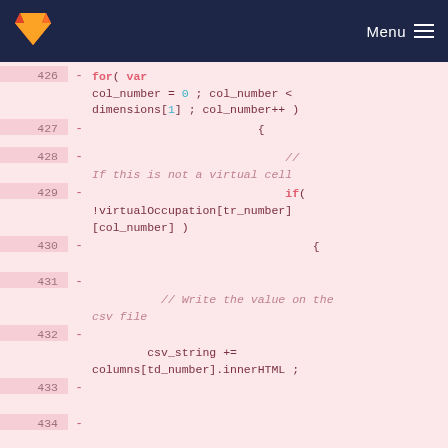Menu
[Figure (screenshot): GitLab code diff view showing JavaScript code lines 426-434. Lines show a for loop iterating col_number, a block open, a comment 'If this is not a virtual cell', an if statement checking !virtualOccupation[tr_number][col_number], a block open, a comment '// Write the value on the csv file', and csv_string += columns[td_number].innerHTML assignment.]